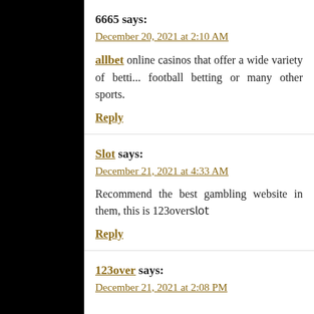6665 says:
December 20, 2021 at 2:10 AM
allbet online casinos that offer a wide variety of betti... football betting or many other sports.
Reply
Slot says:
December 21, 2021 at 4:33 AM
Recommend the best gambling website in them, this is 123over𝗌𝗅𝗈𝗍
Reply
123over says:
December 21, 2021 at 2:08 PM